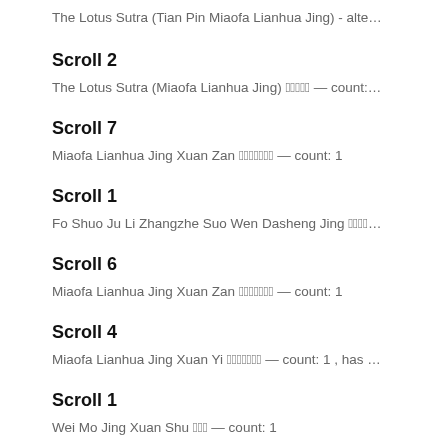The Lotus Sutra (Tian Pin Miaofa Lianhua Jing) - alte…
Scroll 2
The Lotus Sutra (Miaofa Lianhua Jing) 妙法蓮華經 — count:…
Scroll 7
Miaofa Lianhua Jing Xuan Zan 妙法蓮華經玄贊 — count: 1
Scroll 1
Fo Shuo Ju Li Zhangzhe Suo Wen Dasheng Jing 佛說…
Scroll 6
Miaofa Lianhua Jing Xuan Zan 妙法蓮華經玄贊 — count: 1
Scroll 4
Miaofa Lianhua Jing Xuan Yi 妙法蓮華經玄義 — count: 1 , has …
Scroll 1
Wei Mo Jing Xuan Shu 維摩詰 — count: 1
Scroll 5